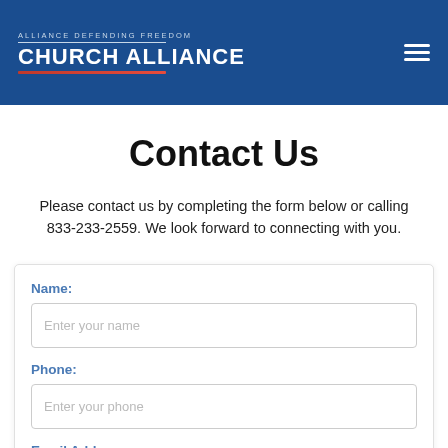ALLIANCE DEFENDING FREEDOM CHURCH ALLIANCE
Contact Us
Please contact us by completing the form below or calling 833-233-2559. We look forward to connecting with you.
Name: [Enter your name]
Phone: [Enter your phone]
Email Address: